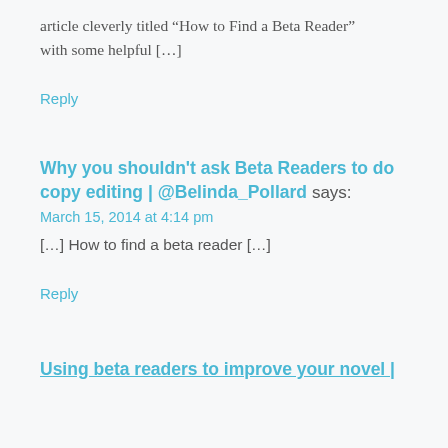article cleverly titled “How to Find a Beta Reader” with some helpful […]
Reply
Why you shouldn’t ask Beta Readers to do copy editing | @Belinda_Pollard says:
March 15, 2014 at 4:14 pm
[…] How to find a beta reader […]
Reply
Using beta readers to improve your novel |